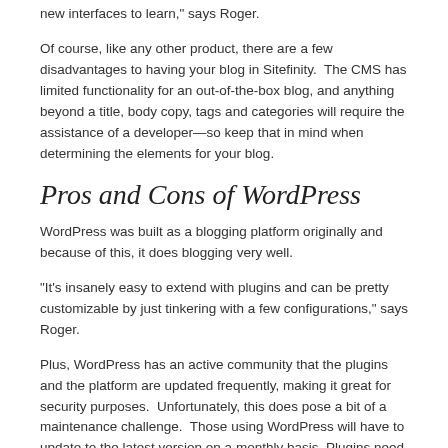new interfaces to learn," says Roger.
Of course, like any other product, there are a few disadvantages to having your blog in Sitefinity.  The CMS has limited functionality for an out-of-the-box blog, and anything beyond a title, body copy, tags and categories will require the assistance of a developer—so keep that in mind when determining the elements for your blog.
Pros and Cons of WordPress
WordPress was built as a blogging platform originally and because of this, it does blogging very well.
“It’s insanely easy to extend with plugins and can be pretty customizable by just tinkering with a few configurations,” says Roger.
Plus, WordPress has an active community that the plugins and the platform are updated frequently, making it great for security purposes.  Unfortunately, this does pose a bit of a maintenance challenge.  Those using WordPress will have to update to the latest version on a monthly basis. Plugins need to be updated more often.
Who’s the Winner